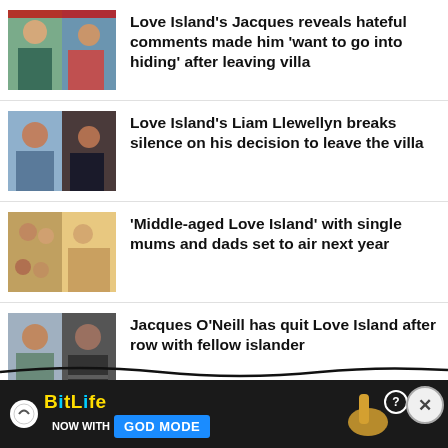Love Island's Jacques reveals hateful comments made him 'want to go into hiding' after leaving villa
Love Island's Liam Llewellyn breaks silence on his decision to leave the villa
'Middle-aged Love Island' with single mums and dads set to air next year
Jacques O'Neill has quit Love Island after row with fellow islander
Michael Owen calls out…
[Figure (screenshot): BitLife NOW WITH GOD MODE advertisement banner at bottom of page]